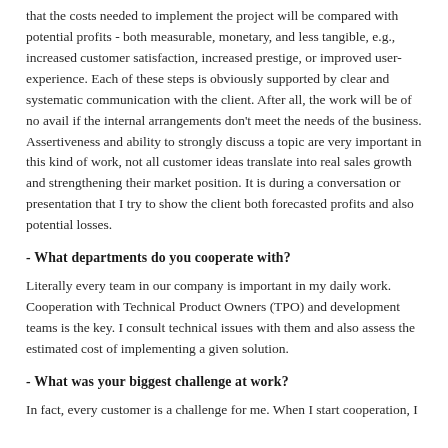that the costs needed to implement the project will be compared with potential profits - both measurable, monetary, and less tangible, e.g., increased customer satisfaction, increased prestige, or improved user-experience. Each of these steps is obviously supported by clear and systematic communication with the client. After all, the work will be of no avail if the internal arrangements don't meet the needs of the business. Assertiveness and ability to strongly discuss a topic are very important in this kind of work, not all customer ideas translate into real sales growth and strengthening their market position. It is during a conversation or presentation that I try to show the client both forecasted profits and also potential losses.
- What departments do you cooperate with?
Literally every team in our company is important in my daily work. Cooperation with Technical Product Owners (TPO) and development teams is the key. I consult technical issues with them and also assess the estimated cost of implementing a given solution.
- What was your biggest challenge at work?
In fact, every customer is a challenge for me. When I start cooperation, I